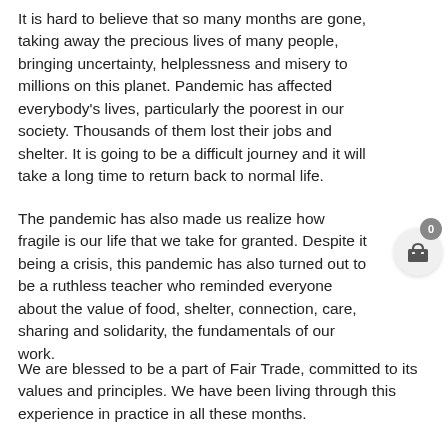It is hard to believe that so many months are gone, taking away the precious lives of many people, bringing uncertainty, helplessness and misery to millions on this planet. Pandemic has affected everybody's lives, particularly the poorest in our society. Thousands of them lost their jobs and shelter. It is going to be a difficult journey and it will take a long time to return back to normal life.
The pandemic has also made us realize how fragile is our life that we take for granted. Despite it being a crisis, this pandemic has also turned out to be a ruthless teacher who reminded everyone about the value of food, shelter, connection, care, sharing and solidarity, the fundamentals of our work.
We are blessed to be a part of Fair Trade, committed to its values and principles. We have been living through this experience in practice in all these months.